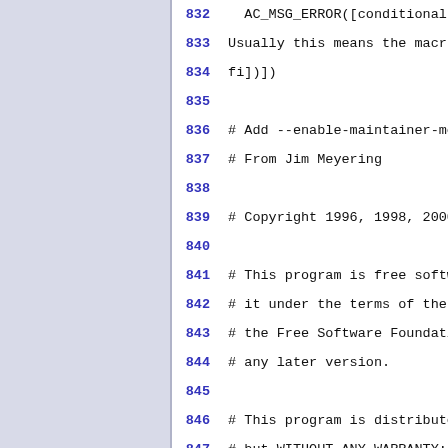832   AC_MSG_ERROR([conditional
833 Usually this means the macro
834 fi])])
835
836 # Add --enable-maintainer-mod
837 # From Jim Meyering
838
839 # Copyright 1996, 1998, 2000,
840
841 # This program is free softwa
842 # it under the terms of the G
843 # the Free Software Foundatio
844 # any later version.
845
846 # This program is distributed
847 # but WITHOUT ANY WARRANTY; W